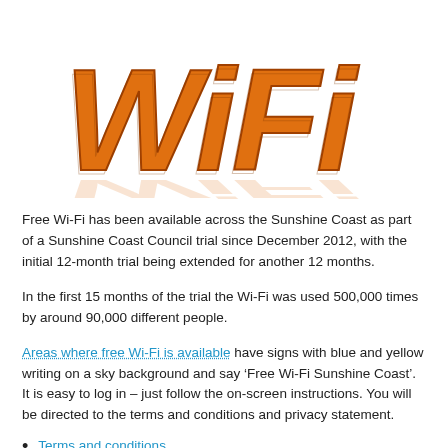[Figure (illustration): 3D orange bold 'WiFi' text logo on white background with slight reflection, partially cropped at top]
Free Wi-Fi has been available across the Sunshine Coast as part of a Sunshine Coast Council trial since December 2012, with the initial 12-month trial being extended for another 12 months.
In the first 15 months of the trial the Wi-Fi was used 500,000 times by around 90,000 different people.
Areas where free Wi-Fi is available have signs with blue and yellow writing on a sky background and say ‘Free Wi-Fi Sunshine Coast’. It is easy to log in – just follow the on-screen instructions. You will be directed to the terms and conditions and privacy statement.
Terms and conditions
Privacy statement